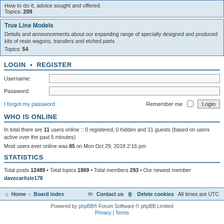How to do it, advice sought and offered. Topics: 209
True Line Models
Details and announcements about our expanding range of specially designed and produced kits of resin wagons, transfers and etched parts
Topics: 54
LOGIN • REGISTER
Username:
Password:
I forgot my password
Remember me
WHO IS ONLINE
In total there are 11 users online :: 0 registered, 0 hidden and 11 guests (based on users active over the past 5 minutes)
Most users ever online was 85 on Mon Oct 29, 2018 2:16 pm
STATISTICS
Total posts 12489 • Total topics 1869 • Total members 293 • Our newest member davecarlisle178
Home · Board index | Contact us | Delete cookies | All times are UTC
Powered by phpBB® Forum Software © phpBB Limited
Privacy | Terms